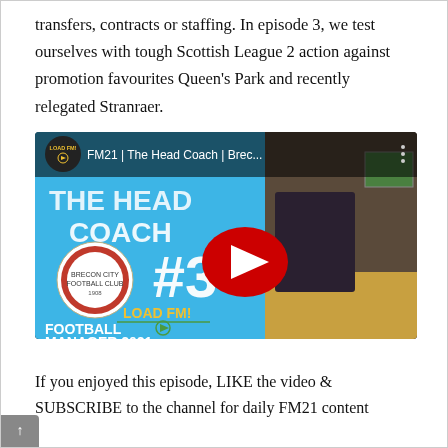transfers, contracts or staffing. In episode 3, we test ourselves with tough Scottish League 2 action against promotion favourites Queen's Park and recently relegated Stranraer.
[Figure (screenshot): YouTube video thumbnail for 'FM21 | The Head Coach | Brec...' by Load FM! channel, showing Football Manager 2021 Brecon City episode #3, with a man presenting tactics on a whiteboard on the right side and blue graphic design with club badge on the left.]
If you enjoyed this episode, LIKE the video & SUBSCRIBE to the channel for daily FM21 content